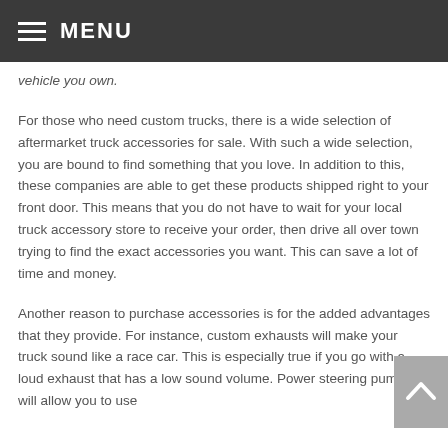≡ MENU
vehicle you own.
For those who need custom trucks, there is a wide selection of aftermarket truck accessories for sale. With such a wide selection, you are bound to find something that you love. In addition to this, these companies are able to get these products shipped right to your front door. This means that you do not have to wait for your local truck accessory store to receive your order, then drive all over town trying to find the exact accessories you want. This can save a lot of time and money.
Another reason to purchase accessories is for the added advantages that they provide. For instance, custom exhausts will make your truck sound like a race car. This is especially true if you go with a loud exhaust that has a low sound volume. Power steering pumps will allow you to use